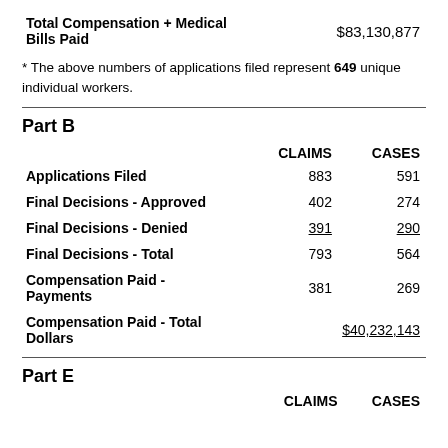|  | CLAIMS | CASES |
| --- | --- | --- |
| Total Compensation + Medical Bills Paid |  | $83,130,877 |
* The above numbers of applications filed represent 649 unique individual workers.
Part B
|  | CLAIMS | CASES |
| --- | --- | --- |
| Applications Filed | 883 | 591 |
| Final Decisions - Approved | 402 | 274 |
| Final Decisions - Denied | 391 | 290 |
| Final Decisions - Total | 793 | 564 |
| Compensation Paid - Payments | 381 | 269 |
| Compensation Paid - Total Dollars |  | $40,232,143 |
Part E